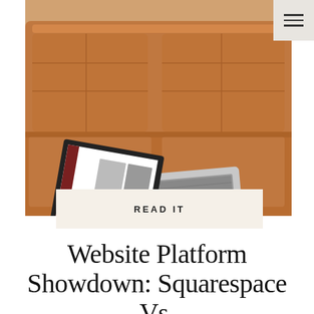[Figure (photo): Laptop open on a tan leather couch with a website displayed on the screen. A navigation hamburger menu icon appears in the top right corner on a beige background.]
READ IT
Website Platform Showdown: Squarespace Vs. Showit